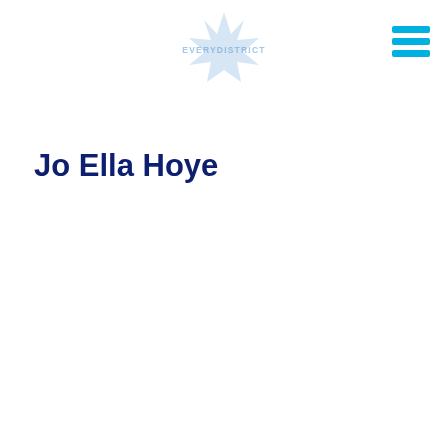[Figure (logo): EveryDistrict logo — a light blue star/compass shape with the text EVERYDISTRICT in the center]
[Figure (other): Hamburger menu icon — three horizontal cyan/blue lines stacked]
Jo Ella Hoye